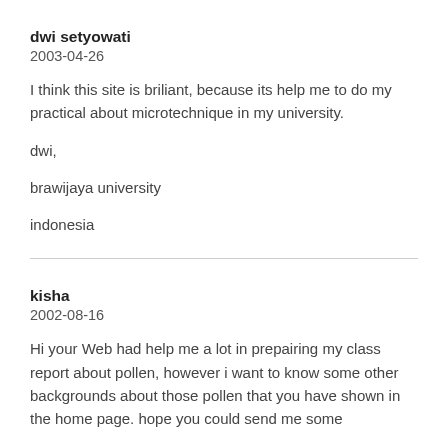dwi setyowati
2003-04-26
I think this site is briliant, because its help me to do my practical about microtechnique in my university.

dwi,

brawijaya university

indonesia
kisha
2002-08-16
Hi your Web had help me a lot in prepairing my class report about pollen, however i want to know some other backgrounds about those pollen that you have shown in the home page. hope you could send me some
SEVCAN TATLIDIL